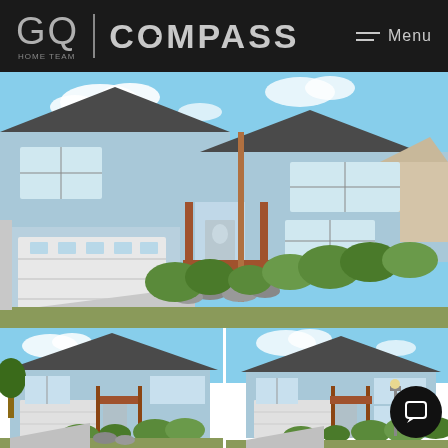[Figure (logo): GQ | COMPASS logo with HOME TEAM text and Menu button on dark header bar]
[Figure (photo): Main exterior photo of a two-story light blue house with gray roof, white garage door, orange/wood deck railing, and landscaped front yard with shrubs and stone retaining wall]
[Figure (photo): Bottom left thumbnail: same blue house exterior from a wider aerial/street angle]
[Figure (photo): Bottom right thumbnail: same blue house exterior from a slightly different street angle, with chat bubble icon overlay]